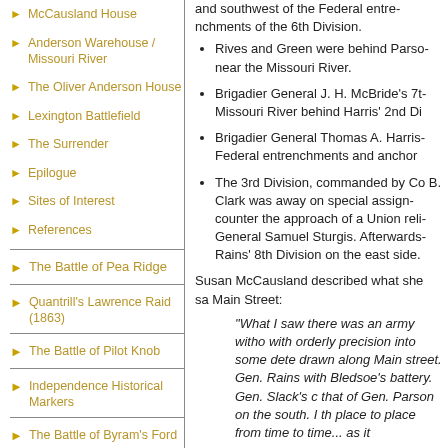McCausland House
Anderson Warehouse / Missouri River
The Oliver Anderson House
Lexington Battlefield
The Surrender
Epilogue
Sites of Interest
References
The Battle of Pea Ridge
Quantrill's Lawrence Raid (1863)
The Battle of Pilot Knob
Independence Historical Markers
The Battle of Byram's Ford
The Battle of Westport
Price's Retreat From Westport
and southwest of the Federal entrenchments of the 6th Division.
Rives and Green were behind Parson near the Missouri River.
Brigadier General J. H. McBride's 7th Missouri River behind Harris' 2nd Division.
Brigadier General Thomas A. Harris Federal entrenchments and anchored...
The 3rd Division, commanded by Colonel B. Clark was away on special assignment to counter the approach of a Union relief under General Samuel Sturgis. Afterwards, Rains' 8th Division on the east side.
Susan McCausland described what she saw on Main Street:
"What I saw there was an army without with orderly precision into some determined position drawn along Main street. Gen. Rains with Bledsoe's battery. Gen. Slack's division that of Gen. Parson on the south. I traveled from place to place from time to time... as it